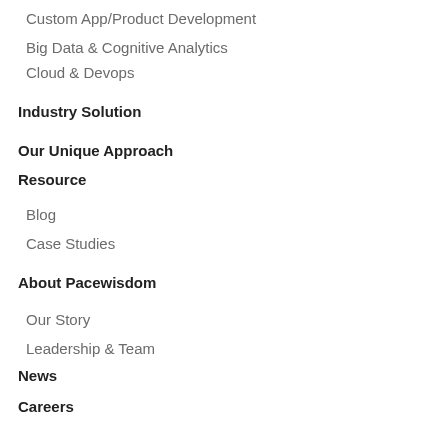Custom App/Product Development
Big Data & Cognitive Analytics
Cloud & Devops
Industry Solution
Our Unique Approach
Resource
Blog
Case Studies
About Pacewisdom
Our Story
Leadership & Team
News
Careers